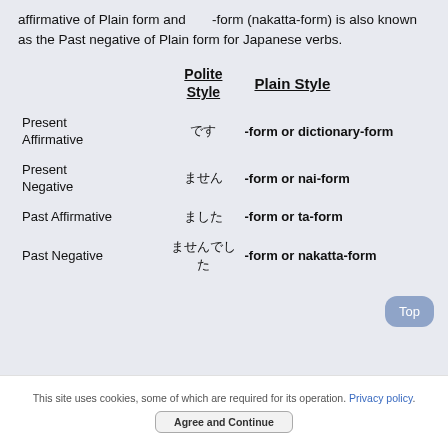affirmative of Plain form and -form (nakatta-form) is also known as the Past negative of Plain form for Japanese verbs.
|  | Polite Style | Plain Style |
| --- | --- | --- |
| Present Affirmative | です | -form or dictionary-form |
| Present Negative | ません | -form or nai-form |
| Past Affirmative | ました | -form or ta-form |
| Past Negative | ませんでした | -form or nakatta-form |
Top
This site uses cookies, some of which are required for its operation. Privacy policy.
Agree and Continue